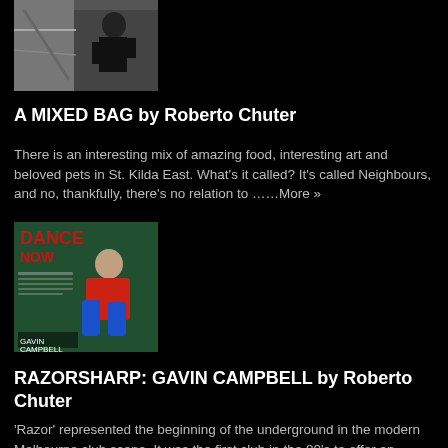[Figure (photo): A man in a black t-shirt appears to be working on or near a wall with graffiti/art]
A MIXED BAG by Roberto Chuter
There is an interesting mix of amazing food, interesting art and beloved pets in St. Kilda East. What's it called? It's called Neighbours, and no, thankfully, there's no relation to …….More »
[Figure (photo): Magazine cover of 'Dance Now' featuring a man in a red sports jersey crouching, labeled Gavin Campbell]
RAZORSHARP: GAVIN CAMPBELL by Roberto Chuter
'Razor' represented the beginning of the underground in the modern Melbourne club scene. It was the first club in the 80's to offer an